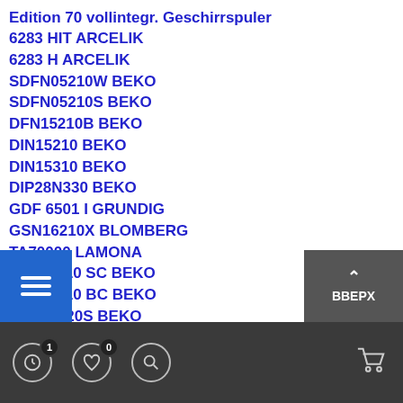Edition 70 vollintegr. Geschirrspuler
6283 HIT ARCELIK
6283 H ARCELIK
SDFN05210W BEKO
SDFN05210S BEKO
DFN15210B BEKO
DIN15210 BEKO
DIN15310 BEKO
DIP28N330 BEKO
GDF 6501 I GRUNDIG
GSN16210X BLOMBERG
TA70000 LAMONA
BMA 6310 SC BEKO
BMA 6310 BC BEKO
DFN28320S BEKO
GNV 41922 DNM GRUNDIG
AL 435 XI ALTUS
DIGPN 8830 Cast
34 CS ALTUS
34 C ALTUS
BBEPX | menu | cart | 1 clock | 0 favorites | search